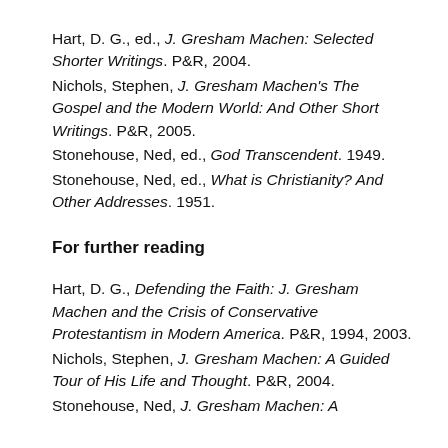Hart, D. G., ed., J. Gresham Machen: Selected Shorter Writings. P&R, 2004.
Nichols, Stephen, J. Gresham Machen's The Gospel and the Modern World: And Other Short Writings. P&R, 2005.
Stonehouse, Ned, ed., God Transcendent. 1949.
Stonehouse, Ned, ed., What is Christianity? And Other Addresses. 1951.
For further reading
Hart, D. G., Defending the Faith: J. Gresham Machen and the Crisis of Conservative Protestantism in Modern America. P&R, 1994, 2003.
Nichols, Stephen, J. Gresham Machen: A Guided Tour of His Life and Thought. P&R, 2004.
Stonehouse, Ned, J. Gresham Machen: A